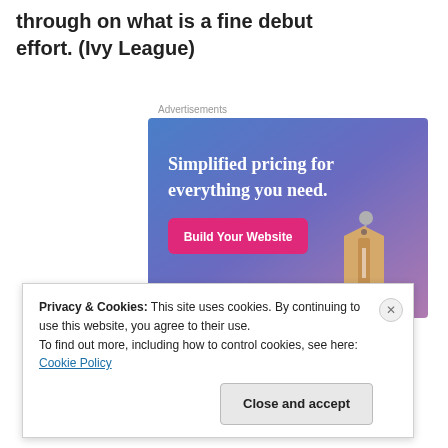through on what is a fine debut effort. (Ivy League)
Advertisements
[Figure (illustration): Advertisement banner with gradient blue-to-purple background, text 'Simplified pricing for everything you need.' with a pink 'Build Your Website' button and a tan price tag graphic.]
Privacy & Cookies: This site uses cookies. By continuing to use this website, you agree to their use.
To find out more, including how to control cookies, see here: Cookie Policy
Close and accept